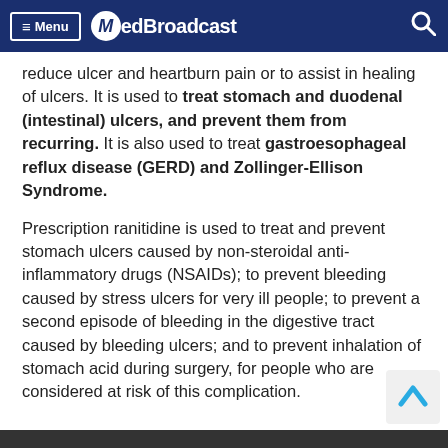Menu MedBroadcast
reduce ulcer and heartburn pain or to assist in healing of ulcers. It is used to treat stomach and duodenal (intestinal) ulcers, and prevent them from recurring. It is also used to treat gastroesophageal reflux disease (GERD) and Zollinger-Ellison Syndrome.
Prescription ranitidine is used to treat and prevent stomach ulcers caused by non-steroidal anti-inflammatory drugs (NSAIDs); to prevent bleeding caused by stress ulcers for very ill people; to prevent a second episode of bleeding in the digestive tract caused by bleeding ulcers; and to prevent inhalation of stomach acid during surgery, for people who are considered at risk of this complication.